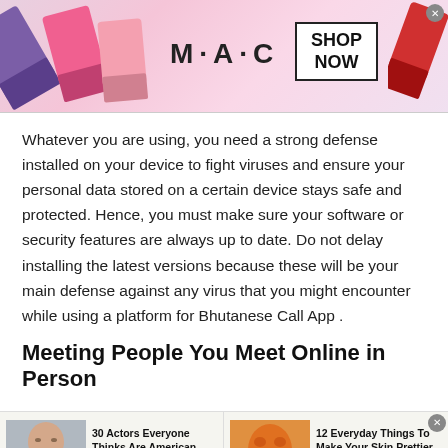[Figure (photo): MAC Cosmetics advertisement banner showing colorful lipsticks on the left, MAC logo in center, SHOP NOW button in a box on the right, and a red lipstick on far right.]
Whatever you are using, you need a strong defense installed on your device to fight viruses and ensure your personal data stored on a certain device stays safe and protected. Hence, you must make sure your software or security features are always up to date. Do not delay installing the latest versions because these will be your main defense against any virus that you might encounter while using a platform for Bhutanese Call App .
Meeting People You Meet Online in Person
[Figure (photo): Two advertisement items side by side: Left ad shows a photo of a bald man (actor) with text '30 Actors Everyone Thinks Are American, But Aren't!' with 'Ad by FillyNews' source. Right ad shows a woman with an orange face mask touching her face with text '12 Everyday Things To Make Your Skin Prettier in No Time!' with 'Ad by FillyNews' source.]